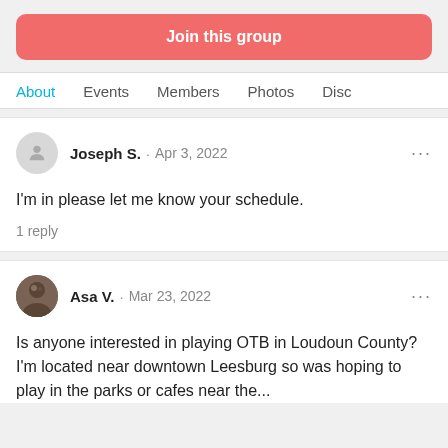Join this group
About   Events   Members   Photos   Disc
Joseph S. · Apr 3, 2022
I'm in please let me know your schedule.
1 reply
Asa V. · Mar 23, 2022
Is anyone interested in playing OTB in Loudoun County? I'm located near downtown Leesburg so was hoping to play in the parks or cafes near the...